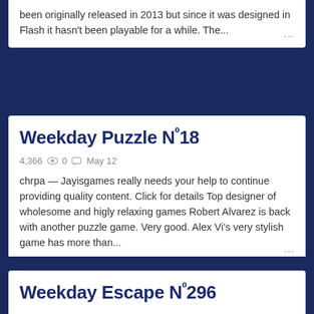been originally released in 2013 but since it was designed in Flash it hasn't been playable for a while. The...
Weekday Puzzle Nº18
4,366  0  May 12
chrpa — Jayisgames really needs your help to continue providing quality content. Click for details Top designer of wholesome and higly relaxing games Robert Alvarez is back with another puzzle game. Very good. Alex Vi's very stylish game has more than...
Weekday Escape Nº296